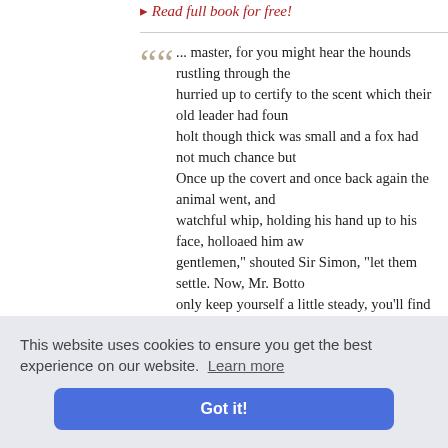▸ Read full book for free!
... master, for you might hear the hounds rustling through the... hurried up to certify to the scent which their old leader had found... holt though thick was small and a fox had not much chance but... Once up the covert and once back again the animal went, and... watchful whip, holding his hand up to his face, holloaed him aw... gentlemen," shouted Sir Simon, "let them settle. Now, Mr. Botto... only keep yourself a little steady, you'll find yourself the better f... Mr. Bottomley was a young man from ...
— Is He Popenjoy? • Anthony Trollope
▸ Read full book for free!
oint to be c... rce numbe... tucky by w... erland Forc... advance c... ards" at Ba... they did,
Hills, where they were re-enforced by two Kentucky regiments...
This website uses cookies to ensure you get the best experience on our website. Learn more
Got it!